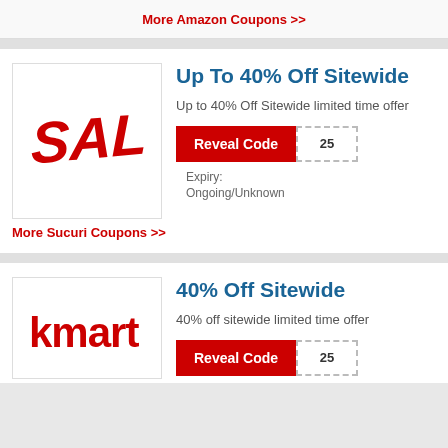More Amazon Coupons >>
Up To 40% Off Sitewide
Up to 40% Off Sitewide limited time offer
Reveal Code  25
Expiry:
Ongoing/Unknown
More Sucuri Coupons >>
40% Off Sitewide
40% off sitewide limited time offer
Reveal Code  25